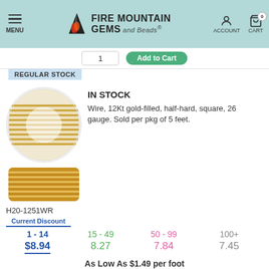Fire Mountain Gems and Beads - MENU | ACCOUNT | CART 0
[Figure (screenshot): Add to cart button and quantity input at top of page]
REGULAR STOCK
[Figure (photo): Gold wire coiled - circular close-up view (top) and rectangular side view (bottom)]
IN STOCK
Wire, 12Kt gold-filled, half-hard, square, 26 gauge. Sold per pkg of 5 feet.
H20-1251WR
| Current Discount | 15 - 49 | 50 - 99 | 100+ |
| --- | --- | --- | --- |
| 1 - 14 | 15 - 49 | 50 - 99 | 100+ |
| $8.94 | 8.27 | 7.84 | 7.45 |
As Low As $1.49 per foot
1  Add to Cart